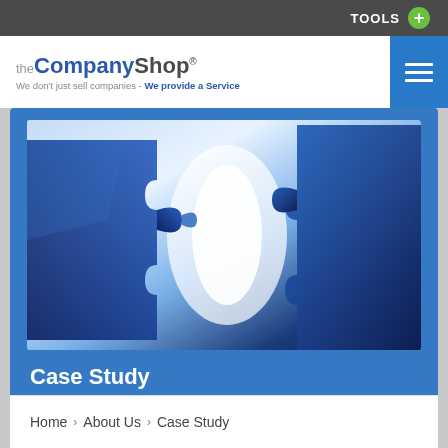TOOLS
[Figure (logo): The Company Shop logo with tagline: We don't just sell companies - We provide a Service]
[Figure (photo): Close-up photo of two blue puzzle pieces fitting together with bright light between them]
Case Study
Home › About Us › Case Study